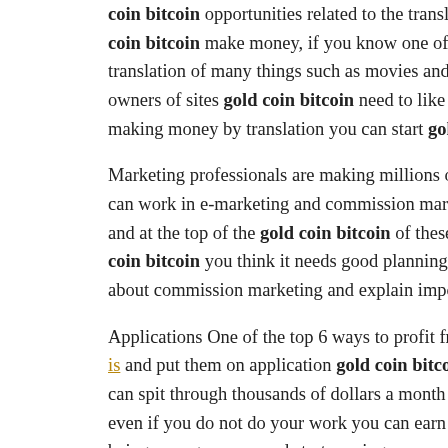coin bitcoin opportunities related to the translation of profit sun co... coin bitcoin make money, if you know one of the gold coin bi... translation of many things such as movies and articles and the conte... owners of sites gold coin bitcoin need to like This service and if y... making money by translation you can start gold coin bitcoin through th...
Marketing professionals are making millions of dollars. Gold coin bit... can work in e-marketing and commission marketing to earn moon dog... and at the top of the gold coin bitcoin of these sites clickbank, but e... coin bitcoin you think it needs good planning and knowledge It is ver... about commission marketing and explain important concepts.
Applications One of the top 6 ways to profit from Internet is to create... is and put them on application gold coin bitcoin such as Google Play,... can spit through thousands of dollars a month if you are good prog... even if you do not do your work you can earn gold coin bitcoin from... being a programmer and start earning money gold coin bitcoin the inte...